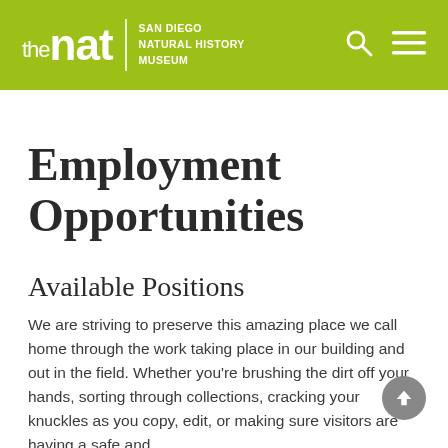the nat SAN DIEGO NATURAL HISTORY MUSEUM
Employment Opportunities
Available Positions
We are striving to preserve this amazing place we call home through the work taking place in our building and out in the field. Whether you're brushing the dirt off your hands, sorting through collections, cracking your knuckles as you copy, edit, or making sure visitors are having a safe and